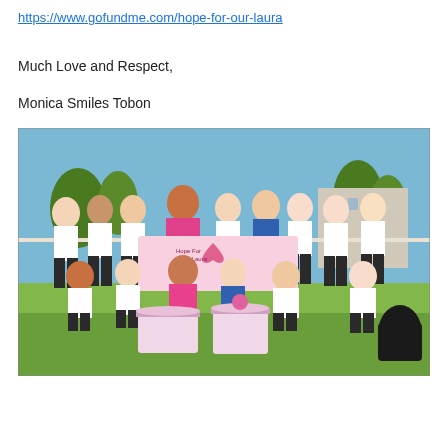https://www.gofundme.com/hope-for-our-laura
Much Love and Respect,
Monica Smiles Tobon
[Figure (photo): Group photo of a girls soccer team wearing white and yellow Legends uniforms, posing outdoors on a grass field. Several players hold a pink ribbon banner reading 'Hope For Our Laura'. Two players in the front wear pink jerseys. Pink gift baskets are placed in front. Background shows trees and a building under a blue sky.]